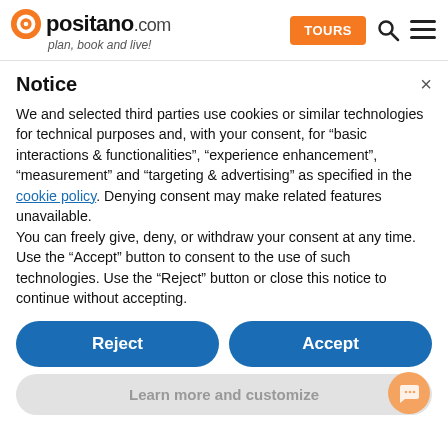positano.com — plan, book and live! | TOURS
Notice
We and selected third parties use cookies or similar technologies for technical purposes and, with your consent, for “basic interactions & functionalities”, “experience enhancement”, “measurement” and “targeting & advertising” as specified in the cookie policy. Denying consent may make related features unavailable.
You can freely give, deny, or withdraw your consent at any time.
Use the “Accept” button to consent to the use of such technologies. Use the “Reject” button or close this notice to continue without accepting.
Reject
Accept
Learn more and customize